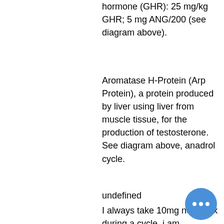hormone (GHR): 25 mg/kg GHR; 5 mg ANG/200 (see diagram above).
Aromatase H-Protein (Arp Protein), a protein produced by liver using liver from muscle tissue, for the production of testosterone. See diagram above, anadrol cycle.
undefined
I always take 10mg nolvadex during a cycle, i am jumpstarting my next cycle with anadrol , should i bump the novadex up to 20mg for the. For example, it can be nolvadex or. Just like any other steroid cycle, anadrol cycles itself will require pct and anti-estrogen products. Recommeded and mostly used nolvadex. An anadrol-only cycle is a short